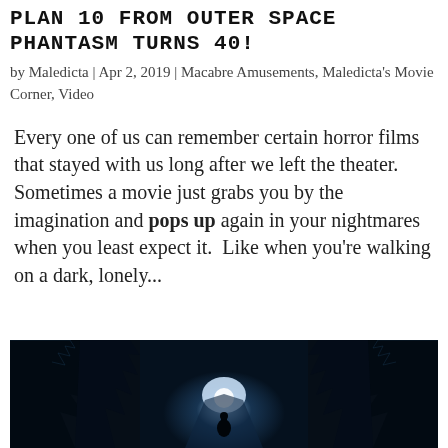PLAN 10 FROM OUTER SPACE PHANTASM TURNS 40!
by Maledicta | Apr 2, 2019 | Macabre Amusements, Maledicta’s Movie Corner, Video
Every one of us can remember certain horror films that stayed with us long after we left the theater. Sometimes a movie just grabs you by the imagination and pops up again in your nightmares when you least expect it.  Like when you’re walking on a dark, lonely…
[Figure (photo): Dark atmospheric still from Phantasm: a lone figure silhouetted against a bright light at the end of a dark, tree-lined path at night]